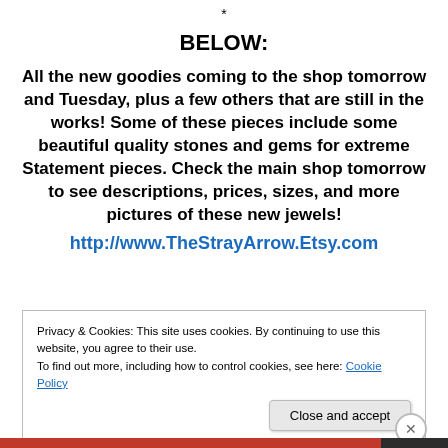*
BELOW:
All the new goodies coming to the shop tomorrow and Tuesday, plus a few others that are still in the works! Some of these pieces include some beautiful quality stones and gems for extreme Statement pieces. Check the main shop tomorrow to see descriptions, prices, sizes, and more pictures of these new jewels!
http://www.TheStrayArrow.Etsy.com
Privacy & Cookies: This site uses cookies. By continuing to use this website, you agree to their use.
To find out more, including how to control cookies, see here: Cookie Policy
Close and accept